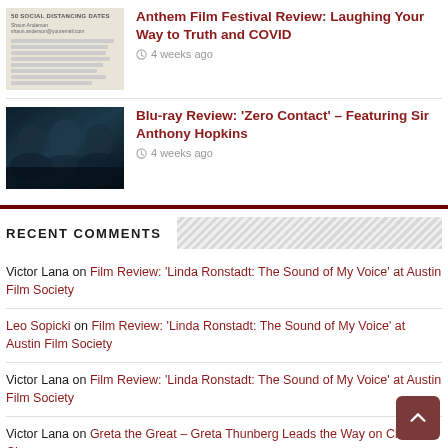[Figure (photo): Thumbnail image showing a document titled '50 Social Distancing Dates' with text and lines visible]
Anthem Film Festival Review: Laughing Your Way to Truth and COVID
4 weeks ago
[Figure (photo): Dark blue-toned movie poster thumbnail featuring multiple male faces for 'Zero Contact']
Blu-ray Review: 'Zero Contact' – Featuring Sir Anthony Hopkins
4 weeks ago
RECENT COMMENTS
Victor Lana on Film Review: 'Linda Ronstadt: The Sound of My Voice' at Austin Film Society
Leo Sopicki on Film Review: 'Linda Ronstadt: The Sound of My Voice' at Austin Film Society
Victor Lana on Film Review: 'Linda Ronstadt: The Sound of My Voice' at Austin Film Society
Victor Lana on Greta the Great – Greta Thunberg Leads the Way on Climate Change